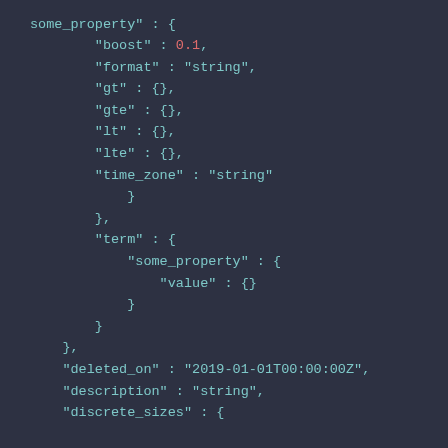some_property : {
    "boost" : 0.1,
    "format" : "string",
    "gt" : {},
    "gte" : {},
    "lt" : {},
    "lte" : {},
    "time_zone" : "string"
        }
    },
    "term" : {
        "some_property" : {
            "value" : {}
        }
    }
},
"deleted_on" : "2019-01-01T00:00:00Z",
"description" : "string",
"discrete_sizes" : {